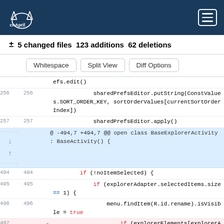chApril — navigation header
± 5 changed files 123 additions 62 deletions
Whitespace | Split View | Diff Options
code diff showing lines 256-257 and 494-497 of BaseExplorerActivity
[Figure (screenshot): Code diff view with line numbers, hunk headers, and colored added/deleted lines]